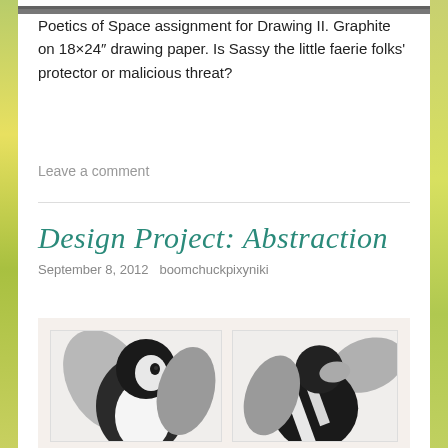[Figure (photo): Partial top strip of a graphite drawing, cropped at top of page]
Poetics of Space assignment for Drawing II. Graphite on 18×24" drawing paper. Is Sassy the little faerie folks' protector or malicious threat?
Leave a comment
Design Project: Abstraction
September 8, 2012   boomchuckpixyniki
[Figure (illustration): Two side-by-side abstract penguin illustrations in black, white, and gray with geometric shapes]